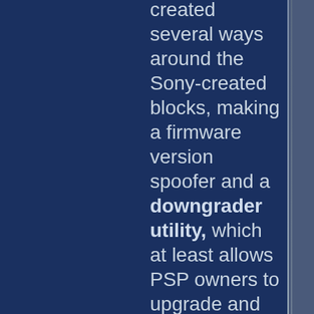created several ways around the Sony-created blocks, making a firmware version spoofer and a downgrader utility, which at least allows PSP owners to upgrade and downgrade their firmware at will. Eventually